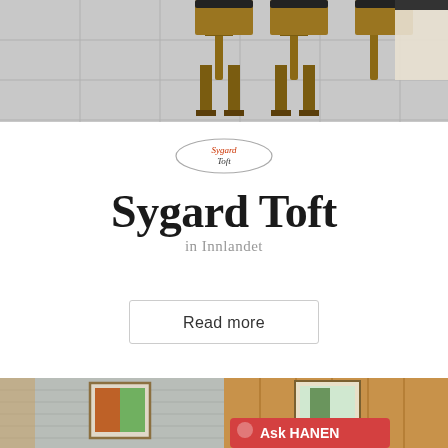[Figure (photo): Top photo showing wooden bar stools/chairs on a tiled floor, black and white seating area]
[Figure (logo): Sygard Toft oval logo with red and black text inside an oval border]
Sygard Toft
in Innlandet
Read more
[Figure (photo): Bottom photo showing two interior cabin/room views: left side with grey painted wooden wall, floral curtain and colorful painting; right side with natural pine wood wall and botanical painting, plus a red Ask HANEN sign with rooster logo]